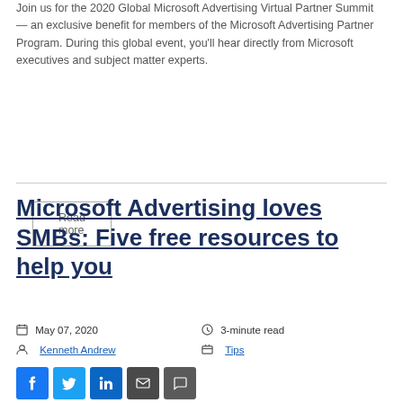Join us for the 2020 Global Microsoft Advertising Virtual Partner Summit — an exclusive benefit for members of the Microsoft Advertising Partner Program. During this global event, you'll hear directly from Microsoft executives and subject matter experts.
Read more
Microsoft Advertising loves SMBs: Five free resources to help you
May 07, 2020   3-minute read
Kenneth Andrew   Tips
[Figure (other): Social share icons: Facebook, Twitter, LinkedIn, Email, Comment]